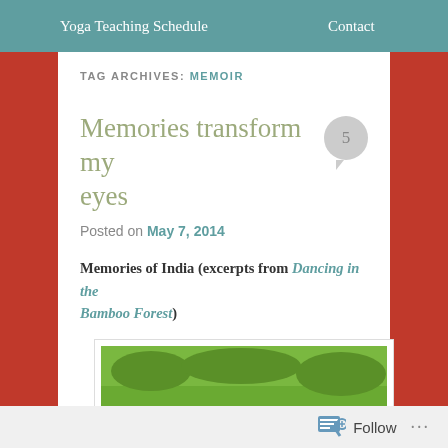Yoga Teaching Schedule   Contact
TAG ARCHIVES: MEMOIR
Memories transform my eyes
Posted on May 7, 2014
Memories of India (excerpts from Dancing in the Bamboo Forest)
[Figure (photo): Photo of lotus flowers and large green lily pads in a pond, with pink blooms visible]
Follow ...